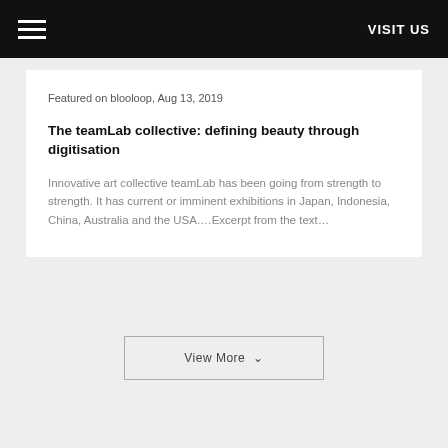VISIT US
Featured on blooloop, Aug 13, 2019
The teamLab collective: defining beauty through digitisation
Innovative art collective teamLab has been going from strength to strength. It has current or imminent exhibitions in Japan, Indonesia, China, Australia and the USA.Excerpt from the text
View More